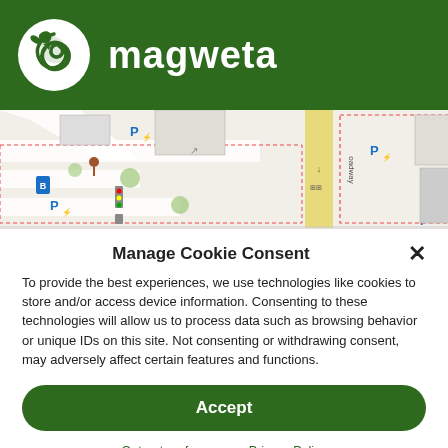[Figure (logo): Magweta logo — white circular icon with stylized bird silhouette on dark green background, with 'magweta' brand name in white bold text]
[Figure (map): Street map excerpt showing Downtown Denver YMCA area with parking icons, bus stop, traffic lights, and a one-way street labeled 'oadway']
Manage Cookie Consent
To provide the best experiences, we use technologies like cookies to store and/or access device information. Consenting to these technologies will allow us to process data such as browsing behavior or unique IDs on this site. Not consenting or withdrawing consent, may adversely affect certain features and functions.
Accept
Opt-out preferences   Privacy Policy